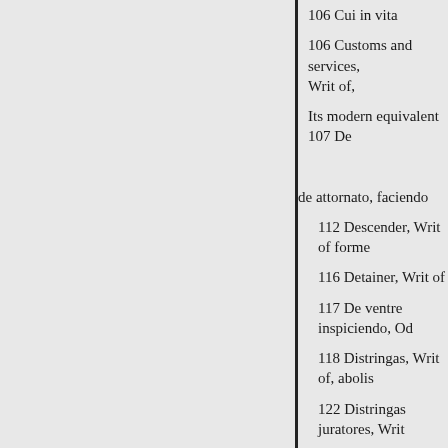106 Cui in vita
106 Customs and services, Writ of,
Its modern equivalent 107 De
de attornato, faciendo
112 Descender, Writ of forme
116 Detainer, Writ of
117 De ventre inspiciendo, Od
118 Distringas, Writ of, abolis
122 Distringas juratores, Writ
122 Dote assignanda
124 Dote unde nihil habet
124 Dum fuit infra ætatem
125 Dum fuit in prisonî
125 Dum fuit non compos me
125 Ejectione custodia
131 Entry, writ of